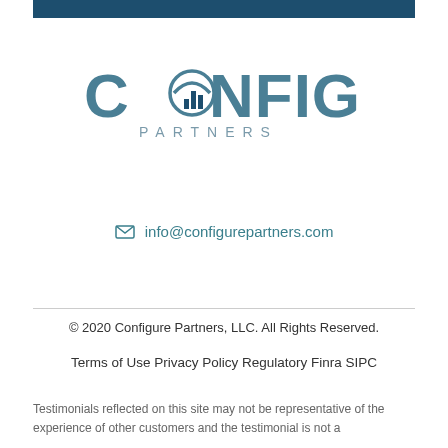[Figure (logo): Configure Partners logo with stylized O containing bar chart icon, company name in teal/slate blue]
✉ info@configurepartners.com
© 2020 Configure Partners, LLC. All Rights Reserved.
Terms of Use   Privacy Policy   Regulatory   Finra   SIPC
Testimonials reflected on this site may not be representative of the experience of other customers and the testimonial is not a